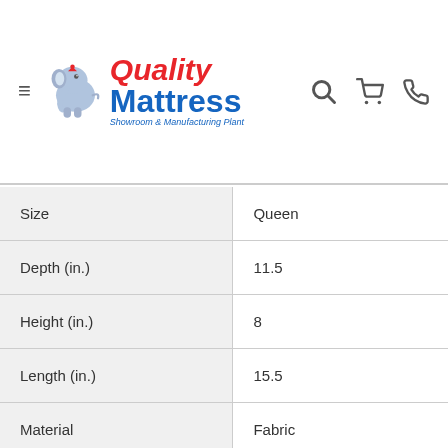Quality Mattress Showroom & Manufacturing Plant
| Attribute | Value |
| --- | --- |
| Size | Queen |
| Depth (in.) | 11.5 |
| Height (in.) | 8 |
| Length (in.) | 15.5 |
| Material | Fabric |
| Collection | Tite® Seal Tite® |
| Color | White |